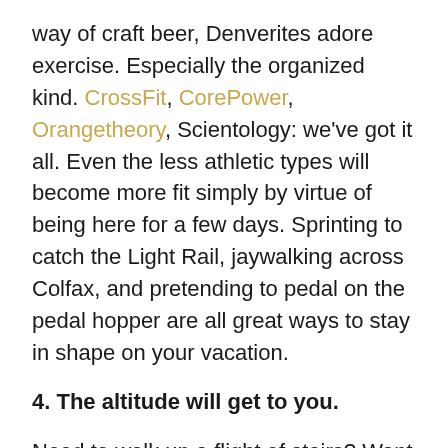way of craft beer, Denverites adore exercise. Especially the organized kind. CrossFit, CorePower, Orangetheory, Scientology: we've got it all. Even the less athletic types will become more fit simply by virtue of being here for a few days. Sprinting to catch the Light Rail, jaywalking across Colfax, and pretending to pedal on the pedal hopper are all great ways to stay in shape on your vacation.
4. The altitude will get to you.
Need to walk up a flight of stairs? Want to take out the trash? Prepare to feel very